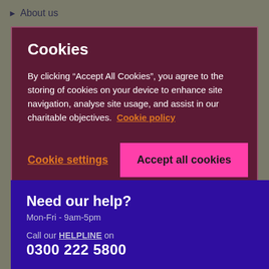▶ About us
Cookies
By clicking “Accept All Cookies”, you agree to the storing of cookies on your device to enhance site navigation, analyse site usage, and assist in our charitable objectives. Cookie policy
Cookie settings | Accept all cookies
Need our help?
Mon-Fri - 9am-5pm
Call our HELPLINE on 0300 222 5800